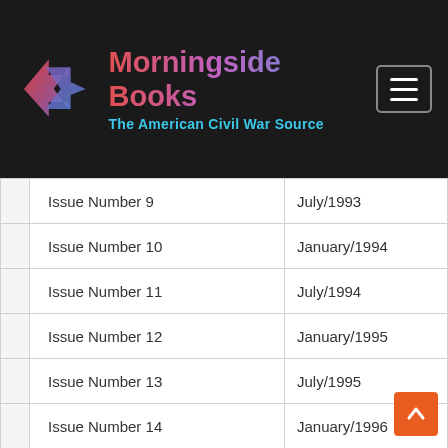Morningside Books — The American Civil War Source
|  | Issue | Date |
| --- | --- | --- |
|  | Issue Number 9 | July/1993 |
|  | Issue Number 10 | January/1994 |
|  | Issue Number 11 | July/1994 |
|  | Issue Number 12 | January/1995 |
|  | Issue Number 13 | July/1995 |
|  | Issue Number 14 | January/1996 |
|  | Issue Number 15 | July/1996 |
|  | Issue Number 16 | January/1997 |
|  | Issue Number 17 | July/1997 |